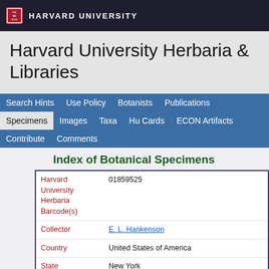HARVARD UNIVERSITY
Harvard University Herbaria & Libraries
Search Hints  Use Policy  Botanists  Publications  Specimens  Images  Taxa  Hu Cards  ECON Artifacts  Contribute  Comments
Index of Botanical Specimens
| Field | Value |
| --- | --- |
| Harvard University Herbaria Barcode(s) | 01859525 |
| Collector | E. L. Hankenson |
| Country | United States of America |
| State | New York |
| Geography | North America: North America (CA, US, MX) (Region): United States of America: New York: Wayne County |
| Locality | Newark |